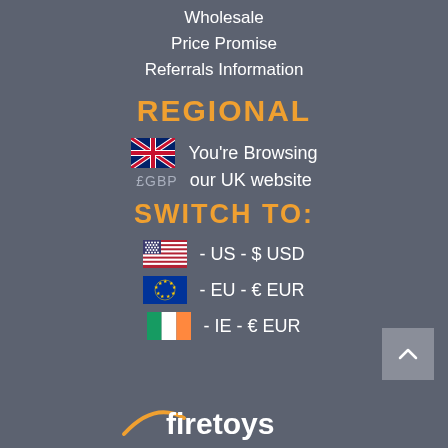Wholesale
Price Promise
Referrals Information
REGIONAL
You're Browsing our UK website
SWITCH TO:
- US - $ USD
- EU - € EUR
- IE - € EUR
[Figure (logo): firetoys logo at bottom]